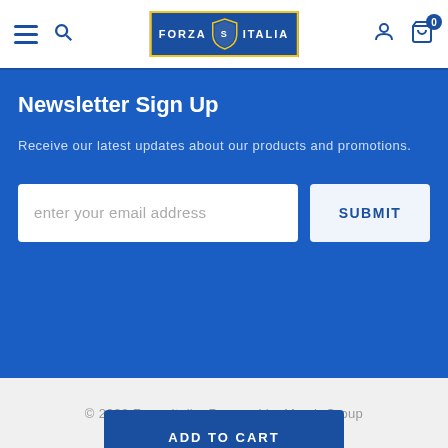Forza Italia — Navigation header with hamburger menu, search, logo, user icon, and cart (0)
Newsletter Sign Up
Receive our latest updates about our products and promotions.
enter your email address
SUBMIT
© 2022 Forza Italia. Powered by Merch Group
ADD TO CART